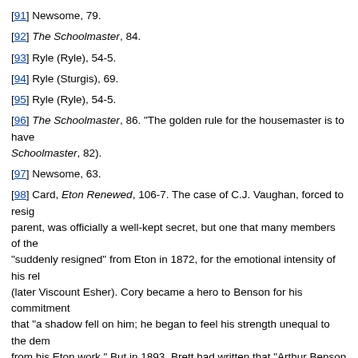[91] Newsome, 79.
[92] The Schoolmaster, 84.
[93] Ryle (Ryle), 54-5.
[94] Ryle (Sturgis), 69.
[95] Ryle (Ryle), 54-5.
[96] The Schoolmaster, 86. "The golden rule for the housemaster is to have Schoolmaster, 82).
[97] Newsome, 63.
[98] Card, Eton Renewed, 106-7. The case of C.J. Vaughan, forced to resign parent, was officially a well-kept secret, but one that many members of the "suddenly resigned" from Eton in 1872, for the emotional intensity of his rel (later Viscount Esher). Cory became a hero to Benson for his commitment that "a shadow fell on him; he began to feel his strength unequal to the dem from his Eton work." But in 1893, Brett had written that "Arthur Benson said among his intimates]" and "he has stood the shock." Tim Card insists that " his resignation", but most accounts assume that Hornby, the headmaster, o A.C. Benson), Ionica (3rd ed., London, 1905), xxi; M.B. Kaplan, Sodom on t